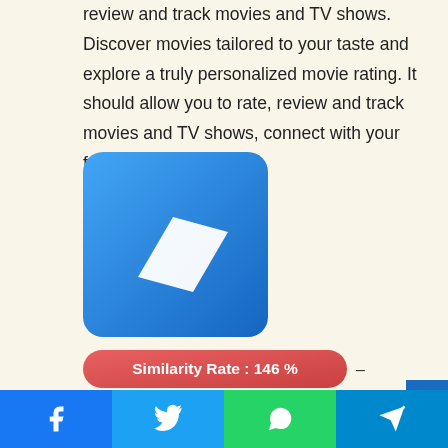review and track movies and TV shows. Discover movies tailored to your taste and explore a truly personalized movie rating. It should allow you to rate, review and track movies and TV shows, connect with your friends,
[Figure (logo): Blue gradient square app icon with a white parallelogram/diamond shape in the center]
Similarity Rate : 146 %
–
Similar Apps